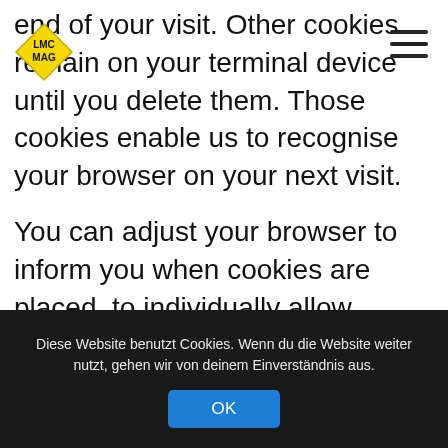[Figure (logo): Yellow diamond-shaped logo with LMC MAG text in black]
end of your visit. Other cookies remain on your terminal device until you delete them. Those cookies enable us to recognise your browser on your next visit.

You can adjust your browser to inform you when cookies are placed, to individually allow cookies, or to generally exclude cookies in certain cases, as well as to activate the automatic deletion of cookies when closing the browser. The deactivation of cookies may impair
Diese Website benutzt Cookies. Wenn du die Website weiter nutzt, gehen wir von deinem Einverständnis aus. OK